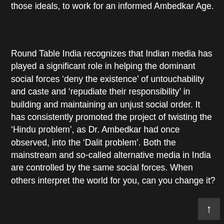those ideals, to work for an informed Ambedkar Age.
Round Table India recognizes that Indian media has played a significant role in helping the dominant social forces ‘deny the existence’ of untouchability and caste and ‘repudiate their responsibility’ in building and maintaining an unjust social order. It has consistently promoted the project of twisting the ‘Hindu problem’, as Dr. Ambedkar had once observed, into the ‘Dalit problem’. Both the mainstream and so-called alternative media in India are controlled by the same social forces. When others interpret the world for you, can you change it?